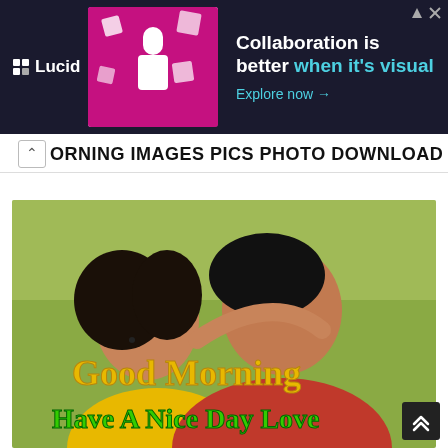[Figure (photo): Lucid advertisement banner: dark navy background with Lucid logo on left, a colorful graphic showing a person at a desk with puzzle pieces, and text 'Collaboration is better when it's visual. Explore now →' on the right.]
MORNING IMAGES PICS PHOTO DOWNLOAD
[Figure (photo): A romantic couple photo with a man and woman smiling together, outdoors with a green field background. Overlay text reads 'Good Morning' in yellow/orange and 'Have A Nice Day Love' in green, in a decorative font style.]